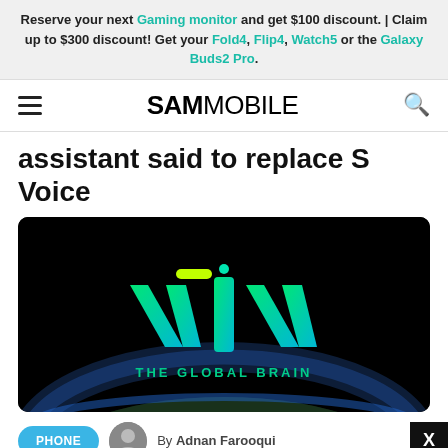Reserve your next Gaming monitor and get $100 discount. | Claim up to $300 discount! Get your Fold4, Flip4, Watch5 or the Galaxy Buds2 Pro.
SAMMOBILE
assistant said to replace S Voice
[Figure (photo): Viv logo over Earth image with text 'THE GLOBAL BRAIN' on dark/space background]
By Adnan Farooqui